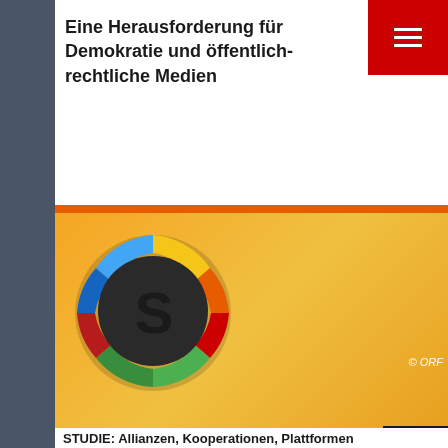Eine Herausforderung für Demokratie und öffentlich-rechtliche Medien
[Figure (illustration): Screenshot of a webpage showing a study cover image with an S-logo circle on orange background, and a white booklet labeled STUDIE with text 'Allianzek Kooperationen Plattformen'. Menu buttons visible top-right and mid-right.]
STUDIE: Allianzen, Kooperationen, Plattformen